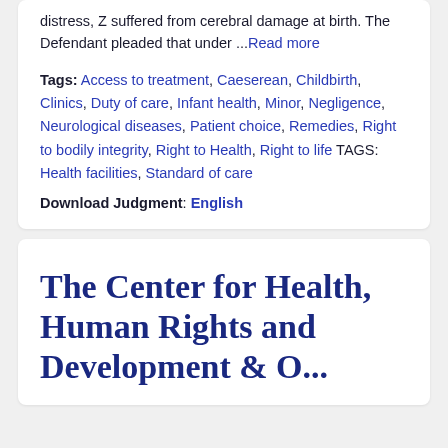distress, Z suffered from cerebral damage at birth. The Defendant pleaded that under ...Read more
Tags: Access to treatment, Caeserean, Childbirth, Clinics, Duty of care, Infant health, Minor, Negligence, Neurological diseases, Patient choice, Remedies, Right to bodily integrity, Right to Health, Right to life TAGS: Health facilities, Standard of care
Download Judgment: English
The Center for Health, Human Rights and Development & O...